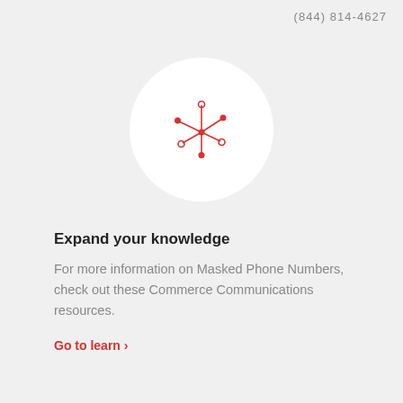(844) 814-4627
[Figure (illustration): A red network/connection icon with a central node and lines radiating outward with filled and hollow circle endpoints, displayed inside a white circular background]
Expand your knowledge
For more information on Masked Phone Numbers, check out these Commerce Communications resources.
Go to learn ›